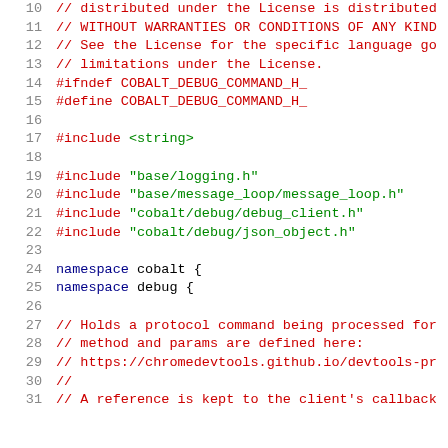Source code listing lines 10-31 of a C++ header file (debug_command.h)
10: // distributed under the License is distributed...
11: // WITHOUT WARRANTIES OR CONDITIONS OF ANY KIND
12: // See the License for the specific language go...
13: // limitations under the License.
14: #ifndef COBALT_DEBUG_COMMAND_H_
15: #define COBALT_DEBUG_COMMAND_H_
16: (empty)
17: #include <string>
18: (empty)
19: #include "base/logging.h"
20: #include "base/message_loop/message_loop.h"
21: #include "cobalt/debug/debug_client.h"
22: #include "cobalt/debug/json_object.h"
23: (empty)
24: namespace cobalt {
25: namespace debug {
26: (empty)
27: // Holds a protocol command being processed for...
28: // method and params are defined here:
29: // https://chromedevtools.github.io/devtools-pr...
30: //
31: // A reference is kept to the client's callback...